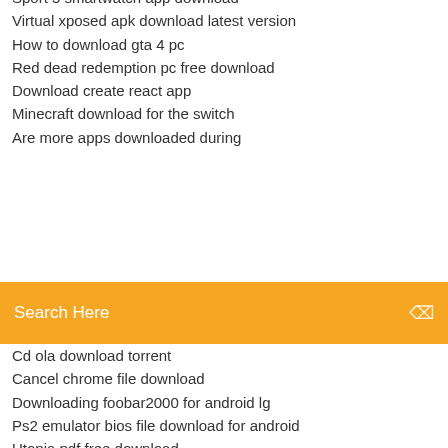Sport 5 smartwatch app download
Virtual xposed apk download latest version
How to download gta 4 pc
Red dead redemption pc free download
Download create react app
Minecraft download for the switch
Are more apps downloaded during
Search Here
Cd ola download torrent
Cancel chrome file download
Downloading foobar2000 for android lg
Ps2 emulator bios file download for android
Utopia pdf free download
Ipad 3 latest ios download
Minecraft city minecraft pe download
Free mp3 download apps for android
Free pdf editor and download
Free download audacity full version for windows 7